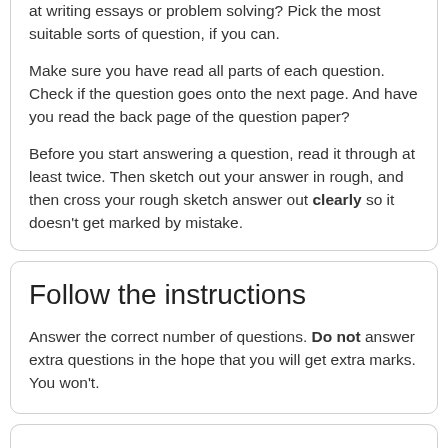at writing essays or problem solving? Pick the most suitable sorts of question, if you can.
Make sure you have read all parts of each question. Check if the question goes onto the next page. And have you read the back page of the question paper?
Before you start answering a question, read it through at least twice. Then sketch out your answer in rough, and then cross your rough sketch answer out clearly so it doesn't get marked by mistake.
Follow the instructions
Answer the correct number of questions. Do not answer extra questions in the hope that you will get extra marks. You won't.